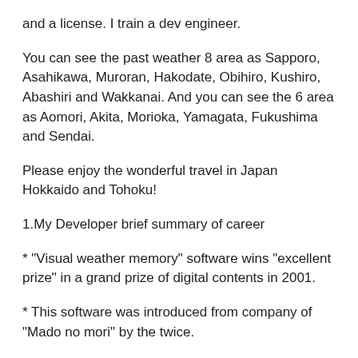and a license. I train a dev engineer.
You can see the past weather 8 area as Sapporo, Asahikawa, Muroran, Hakodate, Obihiro, Kushiro, Abashiri and Wakkanai. And you can see the 6 area as Aomori, Akita, Morioka, Yamagata, Fukushima and Sendai.
Please enjoy the wonderful travel in Japan Hokkaido and Tohoku!
1.My Developer brief summary of career
* "Visual weather memory" software wins "excellent prize" in a grand prize of digital contents in 2001.
* This software was introduced from company of "Mado no mori" by the twice.